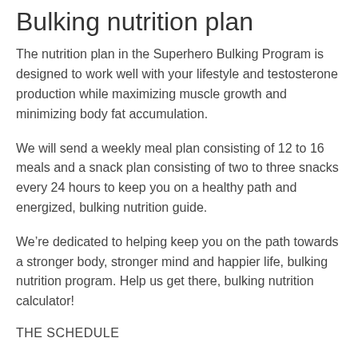Bulking nutrition plan
The nutrition plan in the Superhero Bulking Program is designed to work well with your lifestyle and testosterone production while maximizing muscle growth and minimizing body fat accumulation.
We will send a weekly meal plan consisting of 12 to 16 meals and a snack plan consisting of two to three snacks every 24 hours to keep you on a healthy path and energized, bulking nutrition guide.
We’re dedicated to helping keep you on the path towards a stronger body, stronger mind and happier life, bulking nutrition program. Help us get there, bulking nutrition calculator!
THE SCHEDULE